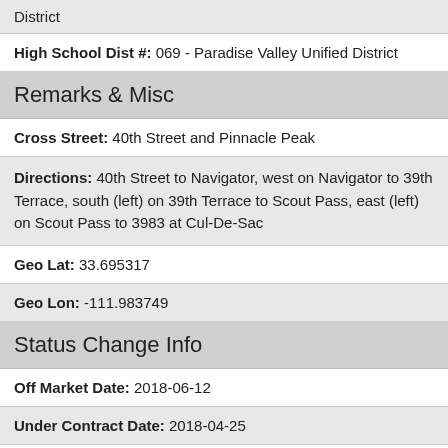District
High School Dist #: 069 - Paradise Valley Unified District
Remarks & Misc
Cross Street: 40th Street and Pinnacle Peak
Directions: 40th Street to Navigator, west on Navigator to 39th Terrace, south (left) on 39th Terrace to Scout Pass, east (left) on Scout Pass to 3983 at Cul-De-Sac
Geo Lat: 33.695317
Geo Lon: -111.983749
Status Change Info
Off Market Date: 2018-06-12
Under Contract Date: 2018-04-25